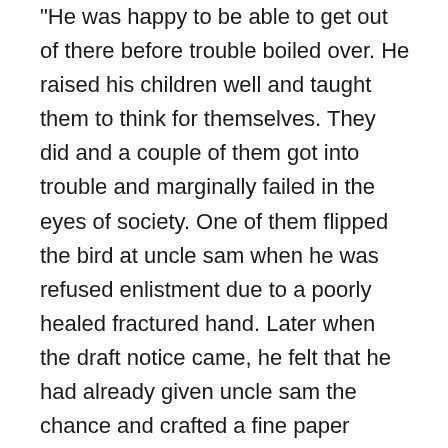He was happy to be able to get out of there before trouble boiled over. He raised his children well and taught them to think for themselves. They did and a couple of them got into trouble and marginally failed in the eyes of society. One of them flipped the bird at uncle sam when he was refused enlistment due to a poorly healed fractured hand. Later when the draft notice came, he felt that he had already given uncle sam the chance and crafted a fine paper airplane out of the notice and tossed it out his micro-bus window as he cross the Golden Gate. He was unfortunately not smart enough to “dodge” across the border into BC for a life of benevolent reflection. The g-men happened upon him one day at work and told him “Though is in trouble”, and for a few years they kept him